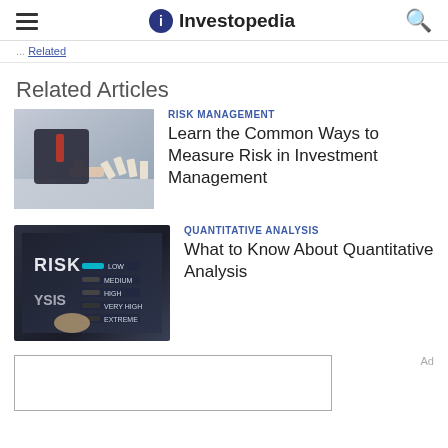Investopedia
[Figure (screenshot): Investopedia website header with hamburger menu icon on left, Investopedia logo in center, and search icon on right]
Related Articles
[Figure (photo): A businessman in a suit stopping falling dominoes with his hands, representing risk management]
RISK MANAGEMENT
Learn the Common Ways to Measure Risk in Investment Management
[Figure (photo): A glowing control panel showing risk levels: LOW, MEDIUM, HIGH, VERY HIGH, EXTREME with a teal-lit button]
QUANTITATIVE ANALYSIS
What to Know About Quantitative Analysis
Ad